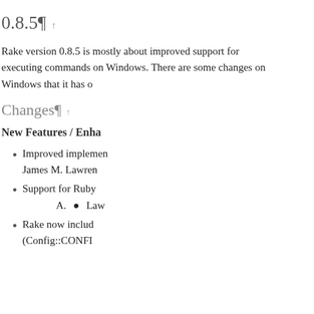0.8.5¶ ↑
Rake version 0.8.5 is mostly about improved support for executing commands on Windows. There are some changes on Windows that it has o
Changes¶ ↑
New Features / Enha
Improved implemen James M. Lawren
Support for Ruby A.  • Law
Rake now includ (Config::CONFI